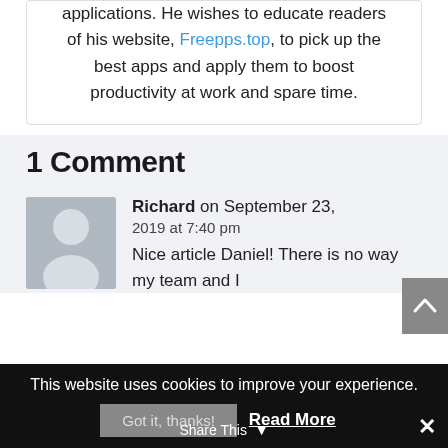applications. He wishes to educate readers of his website, Freepps.top, to pick up the best apps and apply them to boost productivity at work and spare time.
1 Comment
Richard on September 23, 2019 at 7:40 pm
Nice article Daniel! There is no way my team and I
This website uses cookies to improve your experience.
Got it, thanks!  Read More
Share This